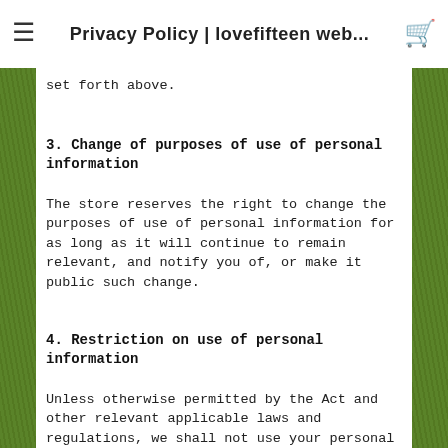Privacy Policy | lovefifteen web...
set forth above.
3. Change of purposes of use of personal information
The store reserves the right to change the purposes of use of personal information for as long as it will continue to remain relevant, and notify you of, or make it public such change.
4. Restriction on use of personal information
Unless otherwise permitted by the Act and other relevant applicable laws and regulations, we shall not use your personal information except as required to accomplish the purposes of use without your consent, unless:
(1) required by the applicable laws and regulations;
(2) it is necessary to protect a person's life, body, or property, and it is difficult to obtain your consent;